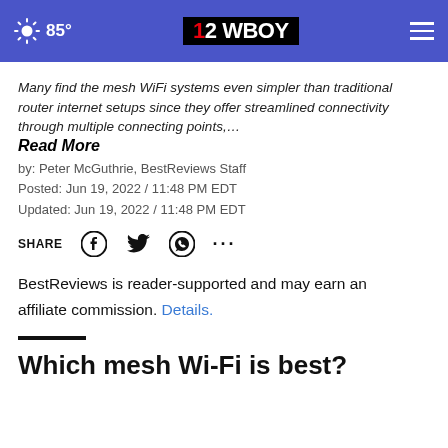12WBOY | 85°
Many find the mesh WiFi systems even simpler than traditional router internet setups since they offer streamlined connectivity through multiple connecting points,…
Read More
by: Peter McGuthrie, BestReviews Staff
Posted: Jun 19, 2022 / 11:48 PM EDT
Updated: Jun 19, 2022 / 11:48 PM EDT
SHARE [Facebook] [Twitter] [WhatsApp] [More]
BestReviews is reader-supported and may earn an affiliate commission. Details.
Which mesh Wi-Fi is best?